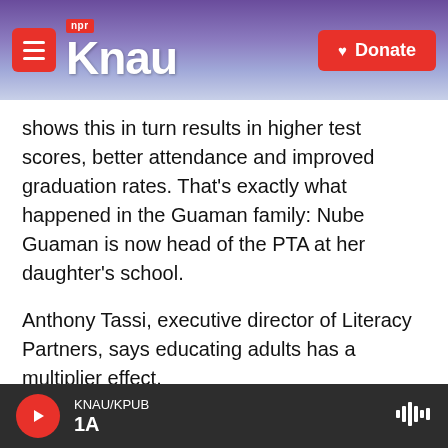KNAU NPR - Donate
shows this in turn results in higher test scores, better attendance and improved graduation rates. That's exactly what happened in the Guaman family: Nube Guaman is now head of the PTA at her daughter's school.
Anthony Tassi, executive director of Literacy Partners, says educating adults has a multiplier effect.
"By focusing on parents, you can at once help cure the problem today and also prevent it long term," he says, "because as you enhance parents' skills, they
KNAU/KPUB 1A